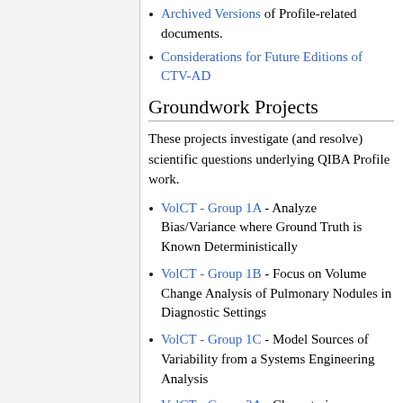Archived Versions of Profile-related documents.
Considerations for Future Editions of CTV-AD
Groundwork Projects
These projects investigate (and resolve) scientific questions underlying QIBA Profile work.
VolCT - Group 1A - Analyze Bias/Variance where Ground Truth is Known Deterministically
VolCT - Group 1B - Focus on Volume Change Analysis of Pulmonary Nodules in Diagnostic Settings
VolCT - Group 1C - Model Sources of Variability from a Systems Engineering Analysis
VolCT - Group 3A - Characterize